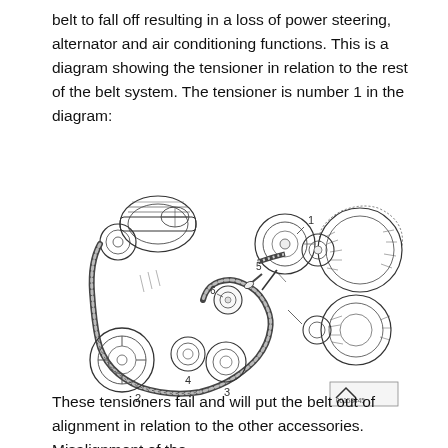belt to fall off resulting in a loss of power steering, alternator and air conditioning functions. This is a diagram showing the tensioner in relation to the rest of the belt system. The tensioner is number 1 in the diagram:
[Figure (engineering-diagram): Exploded-view line drawing of a serpentine belt system showing numbered components: 1 (tensioner pulley, upper right), 2 (crankshaft pulley, lower left), 3 (idler pulley, lower center), 4 (secondary idler, lower center-left), 5 (tensioner arm bolt), 6 (tensioner base disc). The belt wraps around an AC compressor (upper left) and two accessory pulleys on the right (alternator area). A small logo/watermark box appears lower right with text '00158445'.]
These tensioners fail and will put the belt out of alignment in relation to the other accessories. Misalignment of the